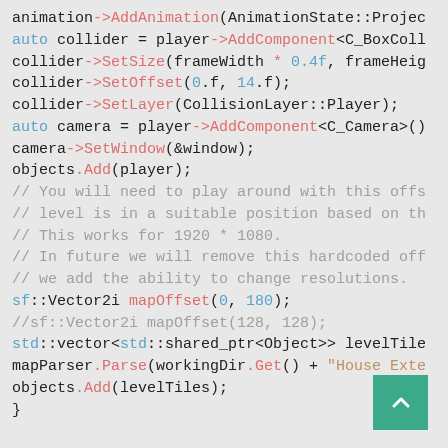[Figure (screenshot): A code snippet in C++ style showing animation, collider, camera, objects setup, comments about offset and resolution, and map/level tile loading. Light grey background with syntax highlighting: keywords in blue, method calls in pink/red, strings in orange, comments in grey.]